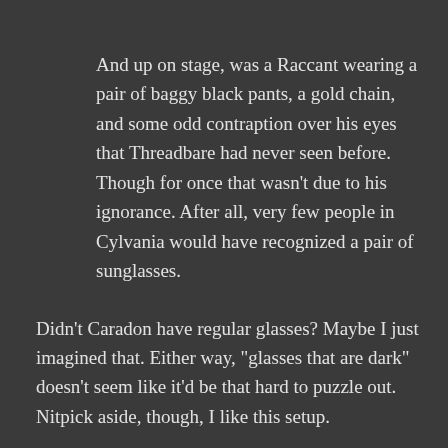And up on stage, was a Raccant wearing a pair of baggy black pants, a gold chain, and some odd contraption over his eyes that Threadbare had never seen before. Though for once that wasn't due to his ignorance. After all, very few people in Cylvania would have recognized a pair of sunglasses.
Didn't Caradon have regular glasses? Maybe I just imagined that. Either way, “glasses that are dark” doesn't seem like it'd be that hard to puzzle out. Nitpick aside, though, I like this setup.